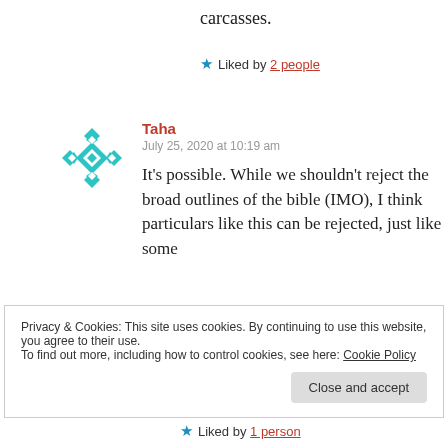carcasses.
★ Liked by 2 people
[Figure (illustration): Teal geometric/mosaic avatar icon for user Taha]
Taha
July 25, 2020 at 10:19 am
It's possible. While we shouldn't reject the broad outlines of the bible (IMO), I think particulars like this can be rejected, just like some
Privacy & Cookies: This site uses cookies. By continuing to use this website, you agree to their use.
To find out more, including how to control cookies, see here: Cookie Policy
Close and accept
★ Liked by 1 person